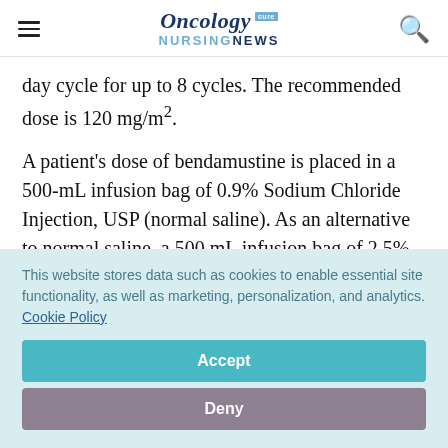Oncology NURSING NEWS
day cycle for up to 8 cycles. The recommended dose is 120 mg/m².
A patient's dose of bendamustine is placed in a 500-mL infusion bag of 0.9% Sodium Chloride Injection, USP (normal saline). As an alternative to normal saline, a 500 mL infusion bag of 2.5%
This website stores data such as cookies to enable essential site functionality, as well as marketing, personalization, and analytics. Cookie Policy
Accept
Deny